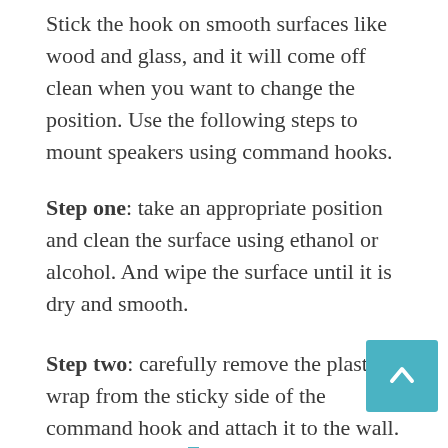Stick the hook on smooth surfaces like wood and glass, and it will come off clean when you want to change the position. Use the following steps to mount speakers using command hooks.
Step one: take an appropriate position and clean the surface using ethanol or alcohol. And wipe the surface until it is dry and smooth.
Step two: carefully remove the plastic wrap from the sticky side of the command hook and attach it to the wall. Hold up the hook until it is hard on the wall.